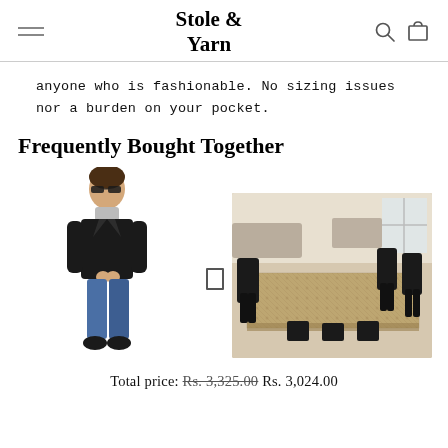Stole & Yarn
anyone who is fashionable. No sizing issues nor a burden on your pocket.
Frequently Bought Together
[Figure (photo): Man wearing sunglasses, leather jacket, scarf and jeans — product photo]
[Figure (photo): Dining table covered with a printed tablecloth, surrounded by chairs — product photo]
Total price: Rs. 3,325.00 Rs. 3,024.00